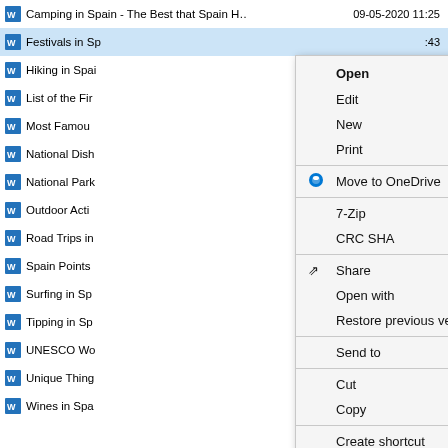[Figure (screenshot): Windows File Explorer showing a list of Word documents about Spain topics, with a right-click context menu open showing options: Open, Edit, New, Print, Move to OneDrive, 7-Zip, CRC SHA, Share, Open with, Restore previous versions, Send to, Cut, Copy, Create shortcut, Delete, Rename, Properties. A scroll-up button is visible in the bottom right.]